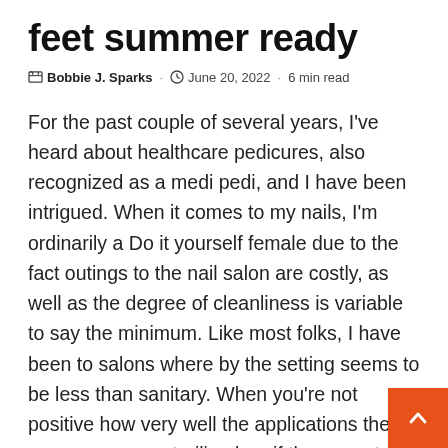feet summer ready
✎ Bobbie J. Sparks · ⊙ June 20, 2022 · 6 min read
For the past couple of several years, I've heard about healthcare pedicures, also recognized as a medi pedi, and I have been intrigued. When it comes to my nails, I'm ordinarily a Do it yourself female due to the fact outings to the nail salon are costly, as well as the degree of cleanliness is variable to say the minimum. Like most folks, I have been to salons where by the setting seems to be less than sanitary. When you're not positive how very well the applications they use on you are sterilized, or if they are at all, you can very eas open yourself up to a terrible an infection. So whe heard that you could get a pedicure that is in fact